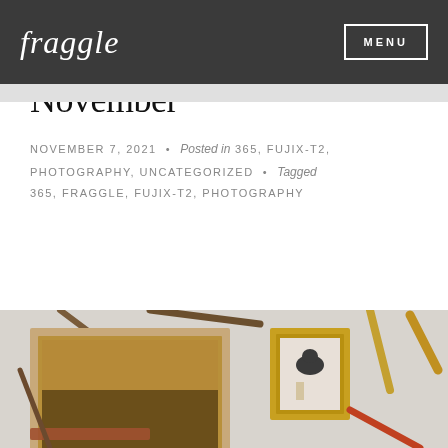fraggle   MENU
365 ~ 31st Oct ~ 6th November
NOVEMBER 7, 2021 • Posted in 365, FUJIX-T2, PHOTOGRAPHY, UNCATEGORIZED • Tagged 365, FRAGGLE, FUJIX-T2, PHOTOGRAPHY
[Figure (photo): A photograph showing wooden picture frames and sticks/twigs arranged on a white wall. One large wooden frame contains a landscape image, a smaller gold frame contains a photo of a cat and a small figure, and various twigs and sticks are mounted around them.]